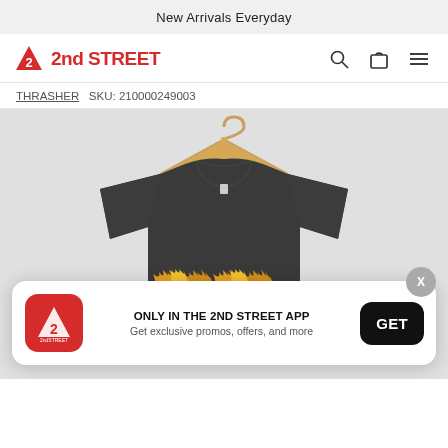New Arrivals Everyday
[Figure (logo): 2nd STREET logo with red triangle and text]
THRASHER   SKU: 210000249003
[Figure (photo): Dark charcoal Thrasher graphic sweatshirt on wooden hanger, flame logo on chest]
ONLY IN THE 2ND STREET APP
Get exclusive promos, offers, and more